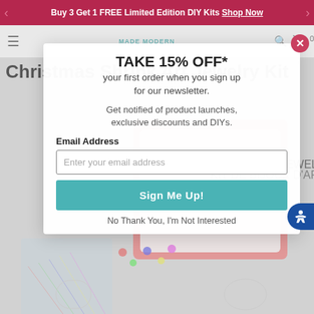Buy 3 Get 1 FREE Limited Edition DIY Kits Shop Now
[Figure (screenshot): Website navigation bar with hamburger menu, Made Modern logo, search icon and cart with 0 items]
Christmas Shrink Art Jewelry Kit
[Figure (photo): Christmas Shrink Art Jewelry Kit product box with pencils, beads, and coloring sheets spread around it]
TAKE 15% OFF*
your first order when you sign up for our newsletter.
Get notified of product launches, exclusive discounts and DIYs.
Email Address
Enter your email address
Sign Me Up!
No Thank You, I'm Not Interested